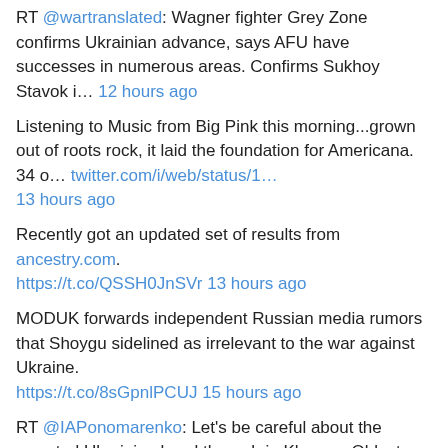RT @wartranslated: Wagner fighter Grey Zone confirms Ukrainian advance, says AFU have successes in numerous areas. Confirms Sukhoy Stavok i… 12 hours ago
Listening to Music from Big Pink this morning...grown out of roots rock, it laid the foundation for Americana. 34 o… twitter.com/i/web/status/1… 13 hours ago
Recently got an updated set of results from ancestry.com. https://t.co/QSSH0JnSVr 13 hours ago
MODUK forwards independent Russian media rumors that Shoygu sidelined as irrelevant to the war against Ukraine. https://t.co/8sGpnlPCUJ 15 hours ago
RT @IAPonomarenko: Let's be careful about the reported Ukrainian breakthrough in Kherson Oblast. Fighting has indeed been hard and Ukraini… 17 hours ago
RT @BettyBowers: Whatever Donald Trump has on Lindsey Graham is almost as bad as whatever Vladimir Putin has on Donald Trump. 17 hours ago